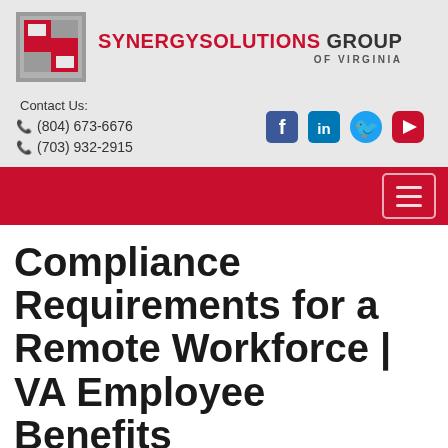[Figure (logo): Synergy Solutions Group of Virginia logo with stylized S in gray and red square background, company name in red and dark text]
Contact Us:
☎ (804) 673-6676
☎ (703) 932-2915
[Figure (infographic): Social media icons: Facebook, LinkedIn, Twitter, YouTube in blue and red colors]
[Figure (infographic): Red navigation bar with hamburger menu button]
Compliance Requirements for a Remote Workforce | VA Employee Benefits